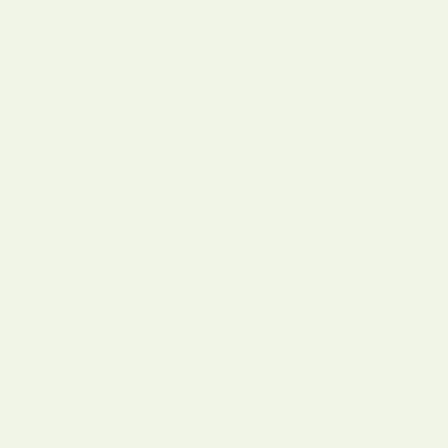Research Interests: statistical machine learning, p
Haixuan YANG, Postdoctoral Fellow, 2007.
Research Interests: machine learning, web mining
Wei WEI, Ph.D. Candidate, 2007.
Social gaming
Adrian TAM, Research Assistant with Prof. Jim
Ph.D. Candidate, City University of New York
Xiang PENG, M.Phil., 2005–2007.
Financial Company, Hong Kong
[2007, mastersthesis | www]
Xiang Peng, "Biased Classification for Releva
Science and Engineering, CUHK, Shatin, NT, 2
Tak Pang Lau, M.Phil., 2004–2006.
CUPIDE Team, CUHK
[2006, mastersthesis | www]
Tak Pang Lau, "Chinese Readability Analysis